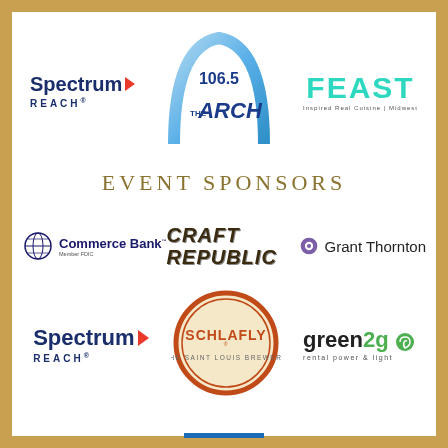[Figure (logo): Spectrum Reach logo (top left)]
[Figure (logo): 106.5 The Arch radio station logo (center top)]
[Figure (logo): FEAST Inspired Real Cuisine logo (top right)]
EVENT SPONSORS
[Figure (logo): Commerce Bank logo]
[Figure (logo): Craft Republic logo]
[Figure (logo): Grant Thornton logo]
[Figure (logo): Spectrum Reach logo (bottom left)]
[Figure (logo): Schlafly The Saint Louis Brewery logo]
[Figure (logo): green2go rental power and light logo]